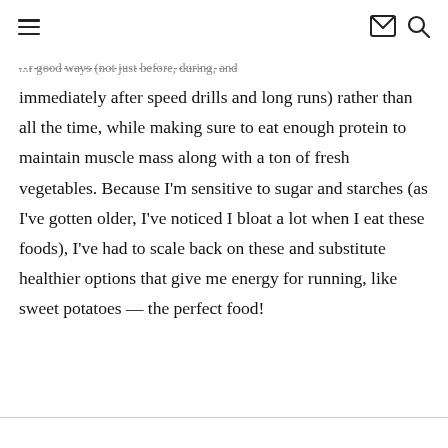[hamburger menu] [email icon] [search icon]
...r good ways (not just before, during, and immediately after speed drills and long runs) rather than all the time, while making sure to eat enough protein to maintain muscle mass along with a ton of fresh vegetables. Because I'm sensitive to sugar and starches (as I've gotten older, I've noticed I bloat a lot when I eat these foods), I've had to scale back on these and substitute healthier options that give me energy for running, like sweet potatoes — the perfect food!